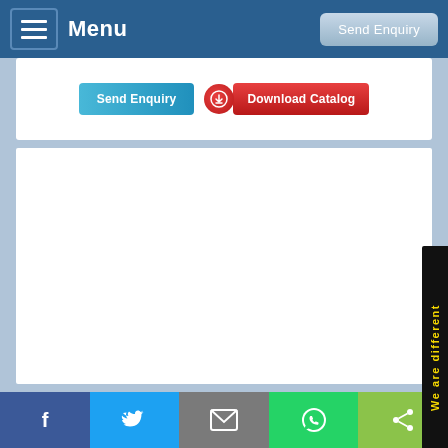Menu | Send Enquiry
[Figure (screenshot): Web page UI showing navigation bar with Menu button and Send Enquiry button, below which are two action buttons: Send Enquiry (blue) and Download Catalog (red with icon), followed by a large white content panel. A vertical side tab reads 'We are different' in yellow on black background. Bottom social sharing bar with Facebook, Twitter, Email, WhatsApp, and Share icons.]
Social sharing bar: Facebook, Twitter, Email, WhatsApp, Share